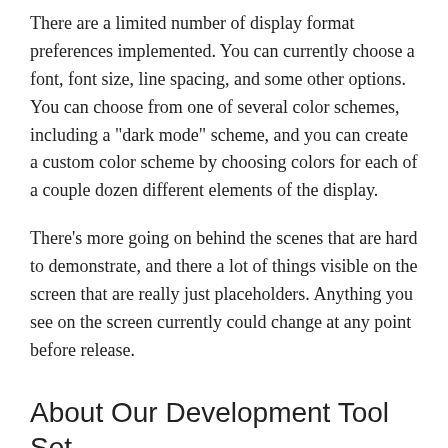There are a limited number of display format preferences implemented. You can currently choose a font, font size, line spacing, and some other options. You can choose from one of several color schemes, including a "dark mode" scheme, and you can create a custom color scheme by choosing colors for each of a couple dozen different elements of the display.
There's more going on behind the scenes that are hard to demonstrate, and there a lot of things visible on the screen that are really just placeholders. Anything you see on the screen currently could change at any point before release.
About Our Development Tool Set — Electron
I've been talking about our innovative, new development